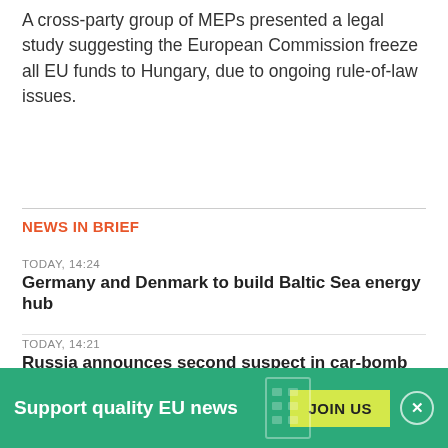A cross-party group of MEPs presented a legal study suggesting the European Commission freeze all EU funds to Hungary, due to ongoing rule-of-law issues.
NEWS IN BRIEF
TODAY, 14:24
Germany and Denmark to build Baltic Sea energy hub
TODAY, 14:21
Russia announces second suspect in car-bomb killing
TODAY, 14:17
Sweden plans more military aid for Ukraine
TODAY, 07:16
Russia to start building nuclear reactors in Hungary
Support quality EU news JOIN US